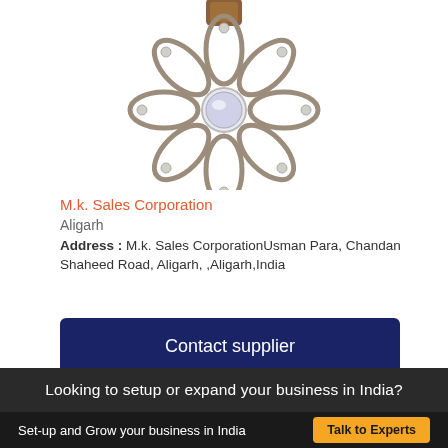[Figure (photo): A decorative metal flower brooch/hair clip with antique silver finish, featuring petal designs with small pearl/crystal embellishments and a large crystal center stone.]
M.k. Sales Corporation
Aligarh
Address : M.k. Sales CorporationUsman Para, Chandan Shaheed Road, Aligarh, ,Aligarh,India
Contact supplier
Looking to setup or expand your business in India?
Set-up and Grow your business in India   Talk to Experts